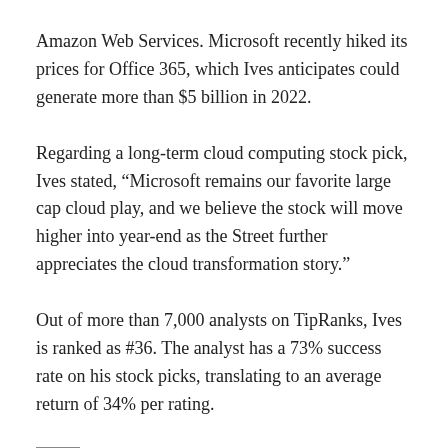Amazon Web Services. Microsoft recently hiked its prices for Office 365, which Ives anticipates could generate more than $5 billion in 2022.
Regarding a long-term cloud computing stock pick, Ives stated, “Microsoft remains our favorite large cap cloud play, and we believe the stock will move higher into year-end as the Street further appreciates the cloud transformation story.”
Out of more than 7,000 analysts on TipRanks, Ives is ranked as #36. The analyst has a 73% success rate on his stock picks, translating to an average return of 34% per rating.